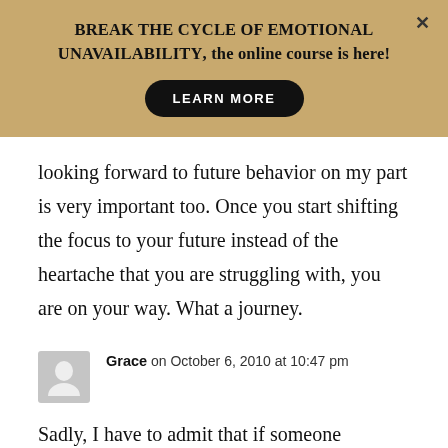BREAK THE CYCLE OF EMOTIONAL UNAVAILABILITY, the online course is here! LEARN MORE
looking forward to future behavior on my part is very important too. Once you start shifting the focus to your future instead of the heartache that you are struggling with, you are on your way. What a journey.
Grace on October 6, 2010 at 10:47 pm
Sadly, I have to admit that if someone